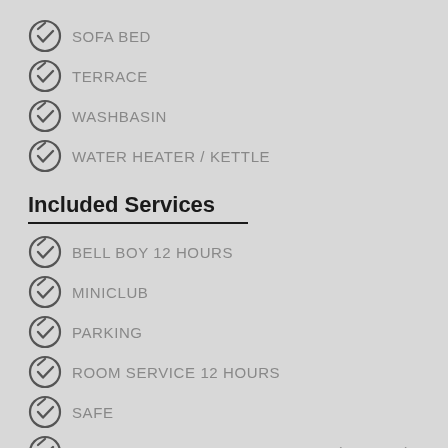SOFA BED
TERRACE
WASHBASIN
WATER HEATER / KETTLE
Included Services
BELL BOY 12 HOURS
MINICLUB
PARKING
ROOM SERVICE 12 HOURS
SAFE
WAITER SERVICE ON THE BEACH (UNIQUE)
WIFI
Services with extra charge